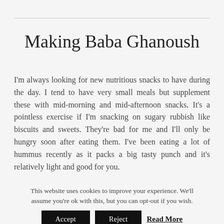Making Baba Ghanoush
I'm always looking for new nutritious snacks to have during the day. I tend to have very small meals but supplement these with mid-morning and mid-afternoon snacks. It's a pointless exercise if I'm snacking on sugary rubbish like biscuits and sweets. They're bad for me and I'll only be hungry soon after eating them. I've been eating a lot of hummus recently as it packs a big tasty punch and it's relatively light and good for you.
This website uses cookies to improve your experience. We'll assume you're ok with this, but you can opt-out if you wish.
Accept  Reject  Read More